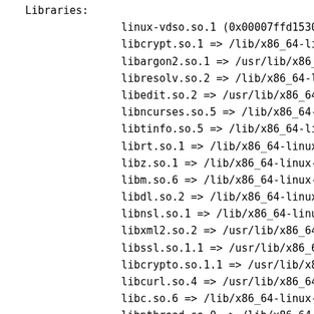Libraries:
linux-vdso.so.1 (0x00007ffd1530a000
libcrypt.so.1 => /lib/x86_64-linux-
libargon2.so.1 => /usr/lib/x86_64-l
libresolv.so.2 => /lib/x86_64-linux
libedit.so.2 => /usr/lib/x86_64-lin
libncurses.so.5 => /lib/x86_64-linu
libtinfo.so.5 => /lib/x86_64-linux-
librt.so.1 => /lib/x86_64-linux-gnu
libz.so.1 => /lib/x86_64-linux-gnu/
libm.so.6 => /lib/x86_64-linux-gnu/
libdl.so.2 => /lib/x86_64-linux-gnu
libnsl.so.1 => /lib/x86_64-linux-gn
libxml2.so.2 => /usr/lib/x86_64-lin
libssl.so.1.1 => /usr/lib/x86_64-li
libcrypto.so.1.1 => /usr/lib/x86_64
libcurl.so.4 => /usr/lib/x86_64-lin
libc.so.6 => /lib/x86_64-linux-gnu/
libpthread.so.0 => /lib/x86_64-linu